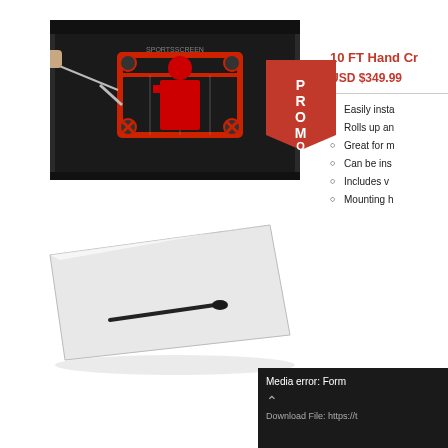[Figure (photo): Hockey shooting screen product image showing a wall-mounted rollup screen with a hockey goalie target printed on it, with a hockey stick visible on the left side]
[Figure (photo): PROMO ribbon/badge in red with white text]
[Figure (photo): Clear mat/shooting pad product image with a black rod and puck on top, shown at an angle]
10 FT Hand Cr
USD $349.99
Easily insta
Rolls up an
Great for m
Can be ins
Includes v
Mounting h
Media error: Form
Download File: https://t